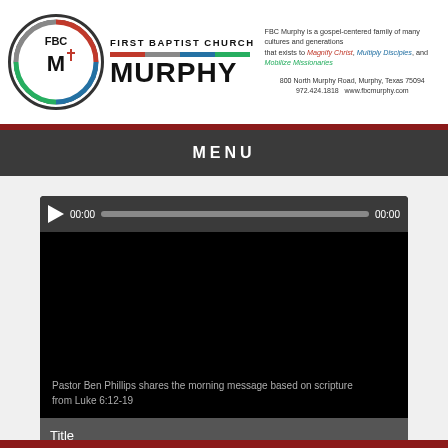[Figure (logo): First Baptist Church Murphy logo with circular FBC M emblem, church name, colored bars, and contact information]
MENU
[Figure (screenshot): Video player showing black screen with text: Pastor Ben Phillips shares the morning message based on scripture from Luke 6:12-19. Player controls show 00:00 timestamps.]
Title
181104 – Luke 6:12-19